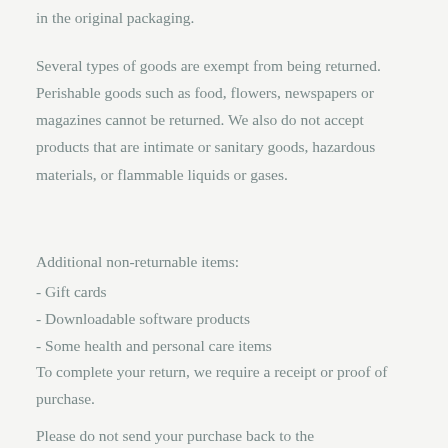in the original packaging.
Several types of goods are exempt from being returned. Perishable goods such as food, flowers, newspapers or magazines cannot be returned. We also do not accept products that are intimate or sanitary goods, hazardous materials, or flammable liquids or gases.
Additional non-returnable items:
- Gift cards
- Downloadable software products
- Some health and personal care items
To complete your return, we require a receipt or proof of purchase.
Please do not send your purchase back to the